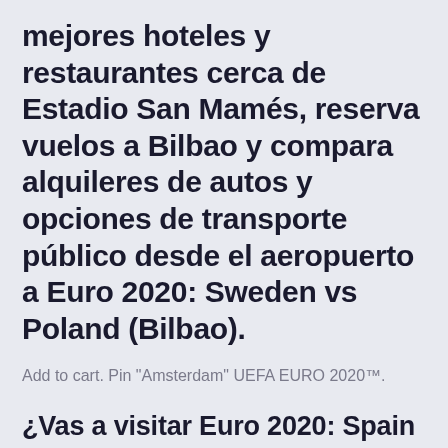mejores hoteles y restaurantes cerca de Estadio San Mamés, reserva vuelos a Bilbao y compara alquileres de autos y opciones de transporte público desde el aeropuerto a Euro 2020: Sweden vs Poland (Bilbao).
Add to cart. Pin "Amsterdam" UEFA EURO 2020™.
¿Vas a visitar Euro 2020: Spain vs Poland (Bilbao)? KAYAK puede ayudarte a planear tu viaje comparando todas tus opciones en segundos. Encuentra los mejores hoteles y restaurantes cerca de Estadio San Mamés